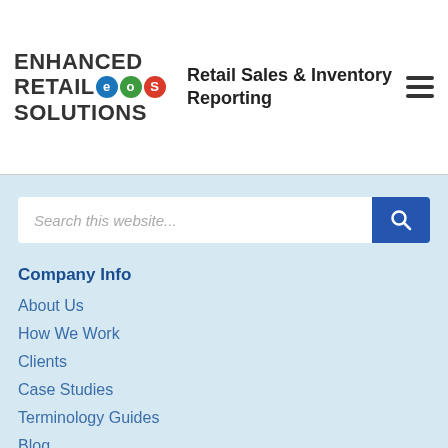[Figure (logo): Enhanced Retail Solutions logo with colored circles for E, O, S letters]
Retail Sales & Inventory Reporting
Search this website...
Company Info
About Us
How We Work
Clients
Case Studies
Terminology Guides
Blog